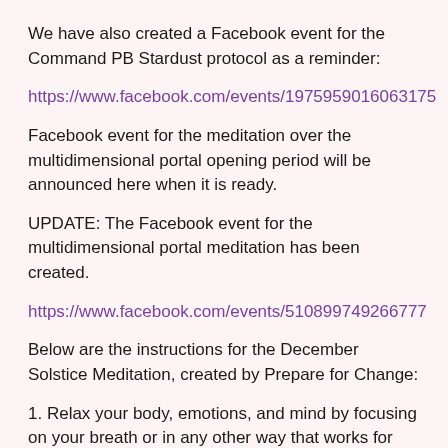We have also created a Facebook event for the Command PB Stardust protocol as a reminder:
https://www.facebook.com/events/1975959016063175
Facebook event for the meditation over the multidimensional portal opening period will be announced here when it is ready.
UPDATE: The Facebook event for the multidimensional portal meditation has been created.
https://www.facebook.com/events/510899749266777
Below are the instructions for the December Solstice Meditation, created by Prepare for Change:
1. Relax your body, emotions, and mind by focusing on your breath or in any other way that works for you.